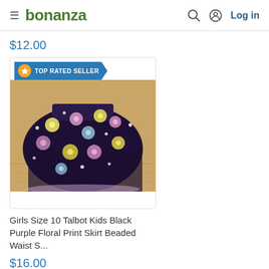bonanza  Log in
$12.00
[Figure (screenshot): Product listing card with TOP RATED SELLER badge and photo of a girls black floral print skirt on a wooden floor background]
Girls Size 10 Talbot Kids Black Purple Floral Print Skirt Beaded Waist S...
$16.00
[Figure (screenshot): Second product card with TOP RATED SELLER badge, partially visible]